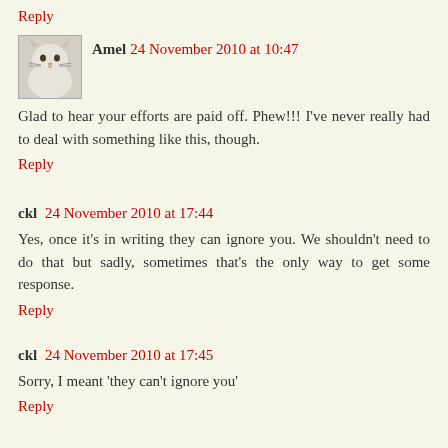Reply
Amel 24 November 2010 at 10:47
Glad to hear your efforts are paid off. Phew!!! I've never really had to deal with something like this, though.
Reply
ckl 24 November 2010 at 17:44
Yes, once it's in writing they can ignore you. We shouldn't need to do that but sadly, sometimes that's the only way to get some response.
Reply
ckl 24 November 2010 at 17:45
Sorry, I meant 'they can't ignore you'
Reply